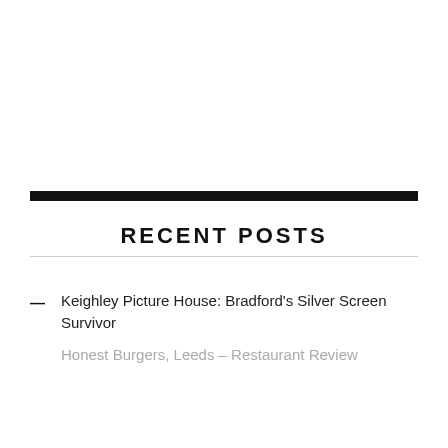RECENT POSTS
Keighley Picture House: Bradford's Silver Screen Survivor
Honest Burgers, Leeds – Restaurant Review